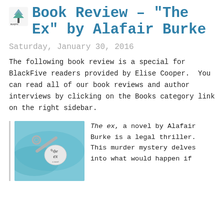Book Review – "The Ex" by Alafair Burke
Saturday, January 30, 2016
The following book review is a special for BlackFive readers provided by Elise Cooper.  You can read all of our book reviews and author interviews by clicking on the Books category link on the right sidebar.
[Figure (photo): Book cover of 'The Ex' by Alafair Burke showing a key on a teal/blue background with the text 'the ex a novel']
The ex, a novel by Alafair Burke is a legal thriller. This murder mystery delves into what would happen if